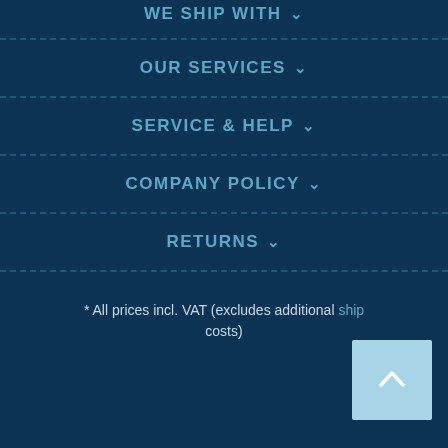WE SHIP WITH ∨
OUR SERVICES ∨
SERVICE & HELP ∨
COMPANY POLICY ∨
RETURNS ∨
* All prices incl. VAT (excludes additional shipping costs)